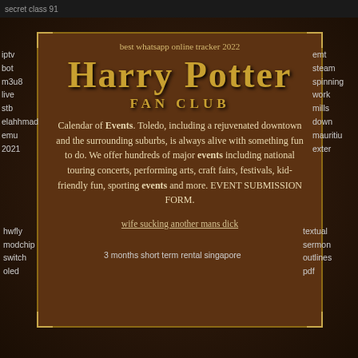secret class 91
iptv
bot
m3u8
live
stb
elahhmad
emu
2021
emt
steam
spinning
work
mills
down
mauritiu
exter
best whatsapp online tracker 2022
Harry Potter
FAN CLUB
Calendar of Events. Toledo, including a rejuvenated downtown and the surrounding suburbs, is always alive with something fun to do. We offer hundreds of major events including national touring concerts, performing arts, craft fairs, festivals, kid-friendly fun, sporting events and more. EVENT SUBMISSION FORM.
wife sucking another mans dick
hwfly
modchip switch
oled
3 months short term rental singapore
textual
sermon outlines
pdf